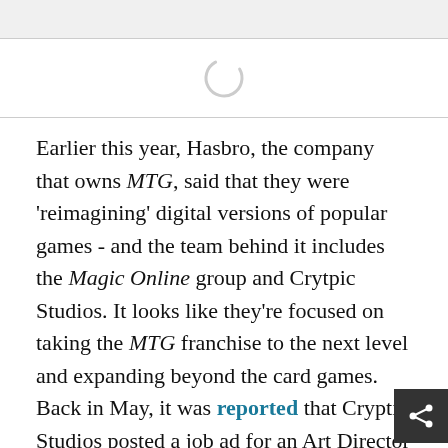[Figure (other): Gray top bar element]
[Figure (other): Loading spinner circle (partial arc) centered in white area between two horizontal dividers]
Earlier this year, Hasbro, the company that owns MTG, said that they were 'reimagining' digital versions of popular games - and the team behind it includes the Magic Online group and Crytpic Studios. It looks like they're focused on taking the MTG franchise to the next level and expanding beyond the card games. Back in May, it was reported that Cryptic Studios posted a job ad for an Art Director to work on an 'exciting, well-known fantasy', and many were speculating it to be Magic.